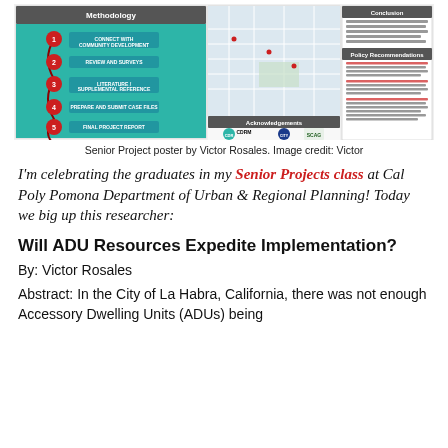[Figure (infographic): Senior Project poster by Victor Rosales showing a methodology flowchart with 5 steps, a city map of La Habra, conclusions, policy recommendations, acknowledgements, and logos for CDRM, City, and SCAG.]
Senior Project poster by Victor Rosales. Image credit: Victor
I'm celebrating the graduates in my Senior Projects class at Cal Poly Pomona Department of Urban & Regional Planning! Today we big up this researcher:
Will ADU Resources Expedite Implementation?
By: Victor Rosales
Abstract: In the City of La Habra, California, there was not enough Accessory Dwelling Units (ADUs) being